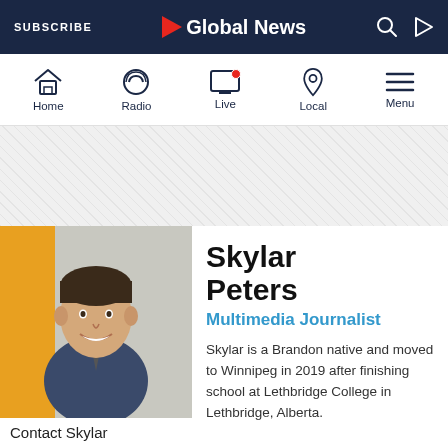SUBSCRIBE | Global News
[Figure (screenshot): Global News website navigation bar with Home, Radio, Live, Local, Menu icons]
[Figure (photo): Profile photo of Skylar Peters smiling, wearing a suit]
Skylar Peters
Multimedia Journalist
Skylar is a Brandon native and moved to Winnipeg in 2019 after finishing school at Lethbridge College in Lethbridge, Alberta.
Contact Skylar